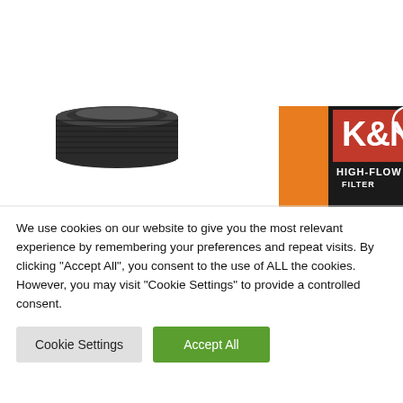[Figure (photo): Product photo showing K&N High-Flow Air Filter products: a cylindrical black filter on the left and two K&N branded boxes with orange, red, and black packaging on the right. The image is partially cropped at the bottom.]
We use cookies on our website to give you the most relevant experience by remembering your preferences and repeat visits. By clicking "Accept All", you consent to the use of ALL the cookies. However, you may visit "Cookie Settings" to provide a controlled consent.